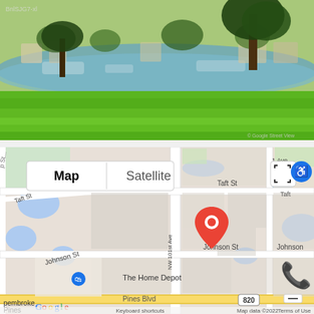[Figure (photo): Outdoor photo of a green lawn area adjacent to a pond/lake with trees and residential buildings in the background. Bright green grass in the foreground, calm water with reflections of trees and structures in the middle ground.]
[Figure (map): Google Maps screenshot showing a neighborhood map with streets labeled including Taft St, Johnson St, NW 101st Ave, Pines Blvd (820), and 31st Ave. A red location pin is placed near the center of the map. The Home Depot is labeled with a blue pin to the lower left. Map/Satellite toggle buttons visible in upper left. Google branding and map data ©2022 attribution visible at bottom. Keyboard shortcuts and Terms of Use labels at bottom.]